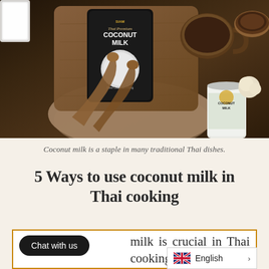[Figure (photo): Overhead view of coconut milk products (a black pouch labeled 'Thai Premium Coconut Milk' and a can labeled 'Coconut Milk') on a wooden cutting board, surrounded by wooden spoons, a mug, garlic, mushrooms, and other Thai cooking ingredients on a dark wooden surface.]
Coconut milk is a staple in many traditional Thai dishes.
5 Ways to use coconut milk in Thai cooking
Chat with us
milk is crucial in Thai cooking, you can